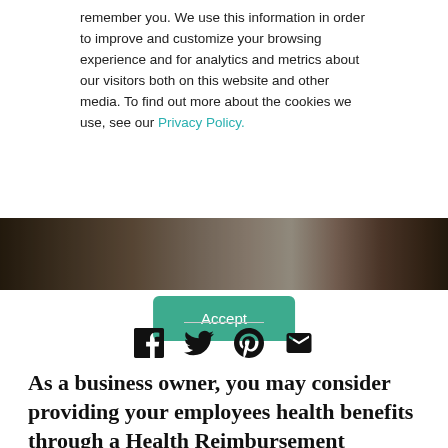remember you. We use this information in order to improve and customize your browsing experience and for analytics and metrics about our visitors both on this website and other media. To find out more about the cookies we use, see our Privacy Policy.
Accept
[Figure (photo): Dark photographic strip showing a desk scene with dark tones]
[Figure (infographic): Social sharing icons: Facebook, Twitter, Pinterest, Email]
As a business owner, you may consider providing your employees health benefits through a Health Reimbursement Arrangement (HRA). As you look into setting